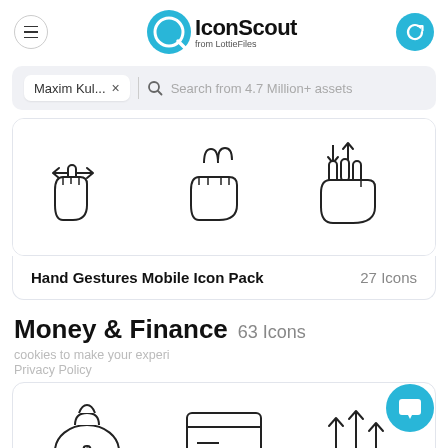IconScout from LottieFiles
Maxim Kul... × | Search from 4.7 Million+ assets
[Figure (illustration): Three hand gesture icons: one-finger horizontal swipe, two-finger pinch/rotate, three-finger vertical swipe]
Hand Gestures Mobile Icon Pack    27 Icons
Money & Finance  63 Icons
cookies to make your experi
Privacy Policy
[Figure (illustration): Three money & finance icons: money bag with dollar sign, credit/debit card, upward arrows]